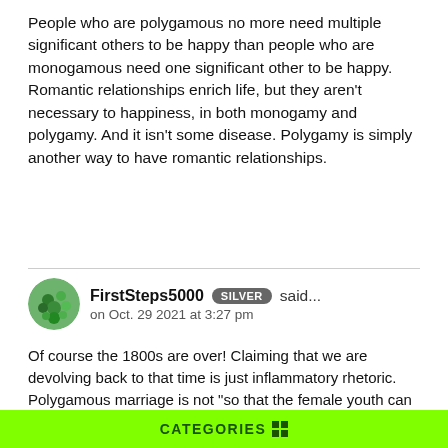People who are polygamous no more need multiple significant others to be happy than people who are monogamous need one significant other to be happy. Romantic relationships enrich life, but they aren't necessary to happiness, in both monogamy and polygamy. And it isn't some disease. Polygamy is simply another way to have romantic relationships.
FirstSteps5000 SILVER said... on Oct. 29 2021 at 3:27 pm
Of course the 1800s are over! Claiming that we are devolving back to that time is just inflammatory rhetoric. Polygamous marriage is not "so that the female youth can be married off at the prime of their childhood", nor is that what if causes. It is so that people who love multiple people in a romantic way aren't forced to choose between the people they love when everyone is ok with everyone loving everyone else. Besides, child marriages are already forced upon teenagers without polygamy being in the equation, so there is hard evidence that polygamy isn't the cause of that.
CATEGORIES